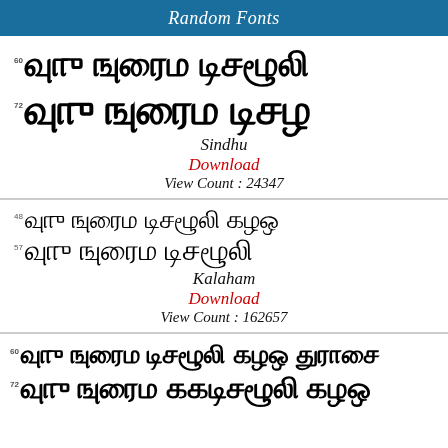Random Fonts
Tamil script sample at size 60 and 72 - Sindhu font
Sindhu
Download
View Count : 24347
Tamil script sample at size 48 and 57 - Kalaham font
Kalaham
Download
View Count : 162657
Tamil script sample at size 60 and 72 - bottom font